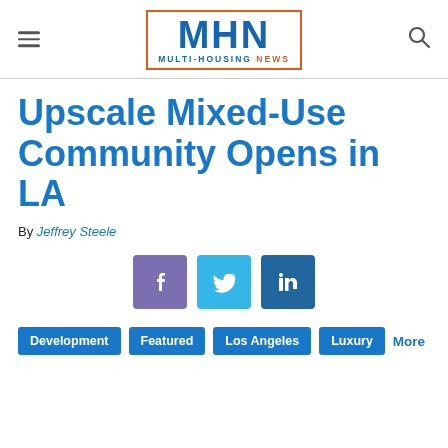MHN MULTI-HOUSING NEWS
Upscale Mixed-Use Community Opens in LA
By Jeffrey Steele
[Figure (other): Social media share buttons: Facebook, Twitter, LinkedIn]
Development | Featured | Los Angeles | Luxury | More